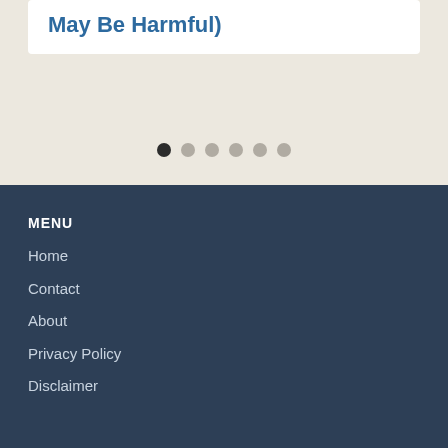May Be Harmful)
[Figure (other): Carousel pagination dots: 6 dots, first dot is dark/active, remaining 5 are light grey/inactive]
MENU
Home
Contact
About
Privacy Policy
Disclaimer